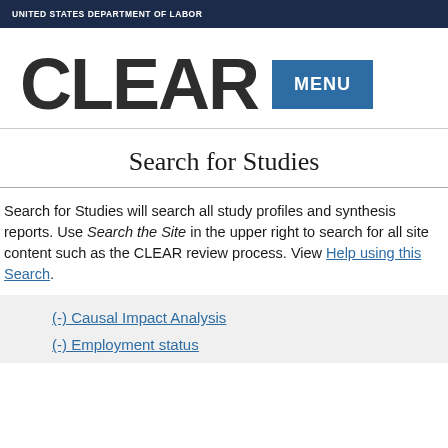UNITED STATES DEPARTMENT OF LABOR
CLEAR
Search for Studies
Search for Studies will search all study profiles and synthesis reports. Use Search the Site in the upper right to search for all site content such as the CLEAR review process. View Help using this Search.
(-) Causal Impact Analysis
(-) Employment status